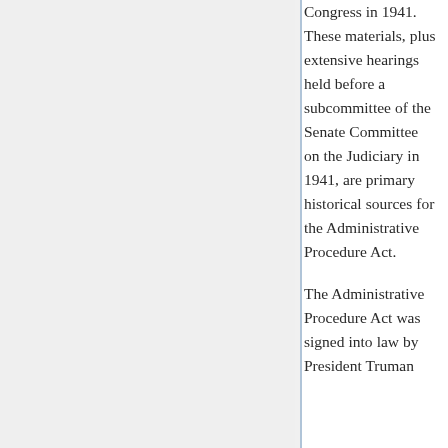Congress in 1941. These materials, plus extensive hearings held before a subcommittee of the Senate Committee on the Judiciary in 1941, are primary historical sources for the Administrative Procedure Act. The Administrative Procedure Act was signed into law by President Truman